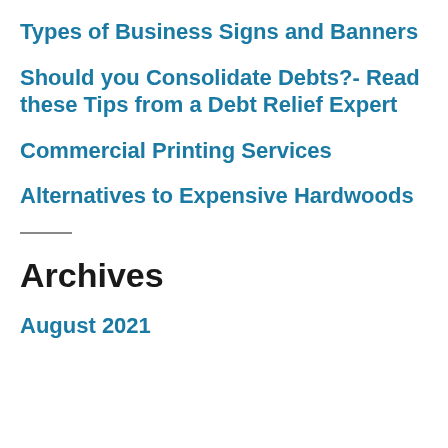Types of Business Signs and Banners
Should you Consolidate Debts?- Read these Tips from a Debt Relief Expert
Commercial Printing Services
Alternatives to Expensive Hardwoods
Archives
August 2021